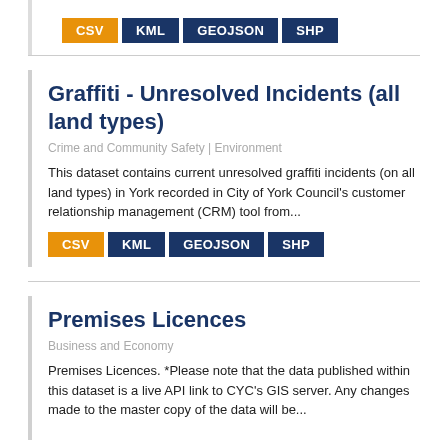CSV KML GEOJSON SHP
Graffiti - Unresolved Incidents (all land types)
Crime and Community Safety | Environment
This dataset contains current unresolved graffiti incidents (on all land types) in York recorded in City of York Council's customer relationship management (CRM) tool from...
CSV KML GEOJSON SHP
Premises Licences
Business and Economy
Premises Licences. *Please note that the data published within this dataset is a live API link to CYC's GIS server. Any changes made to the master copy of the data will be...